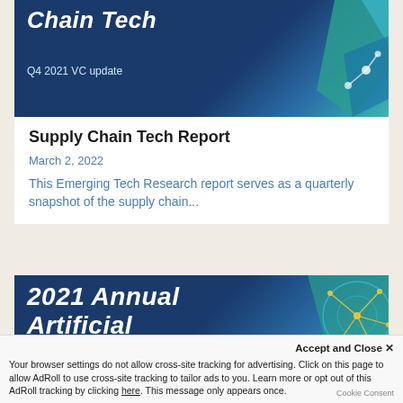[Figure (illustration): Supply Chain Tech report cover image with dark blue background, italic bold white title text 'Chain Tech', subtitle 'Q4 2021 VC update', and teal/blue geometric decorative shapes in top-right corner]
Supply Chain Tech Report
March 2, 2022
This Emerging Tech Research report serves as a quarterly snapshot of the supply chain...
[Figure (illustration): 2021 Annual Artificial Intelligence report cover image with dark blue background, large bold italic white text '2021 Annual Artificial' and partial 'Artificial', teal and gold network/globe graphic on right side]
Accept and Close ✕
Your browser settings do not allow cross-site tracking for advertising. Click on this page to allow AdRoll to use cross-site tracking to tailor ads to you. Learn more or opt out of this AdRoll tracking by clicking here. This message only appears once.